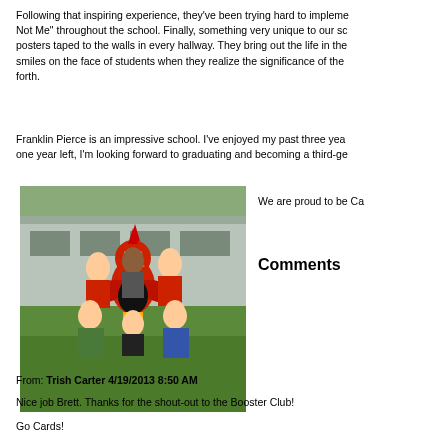Following that inspiring experience, they've been trying hard to implement "Not Me" throughout the school. Finally, something very unique to our school are posters taped to the walls in every hallway. They bring out the life in the smiles on the face of students when they realize the significance of the forth.
Franklin Pierce is an impressive school. I've enjoyed my past three years and with one year left, I'm looking forward to graduating and becoming a third-ge
We are proud to be Ca
[Figure (photo): Group photo of students posing with a Cardinal mascot costume in front of a school building outdoors on grass.]
Comments
From: Trish Carter 4/19/2013 8:50 AM
Nice job Brett. Thanks for the shout-out to the Booster Club!
Go Cards!